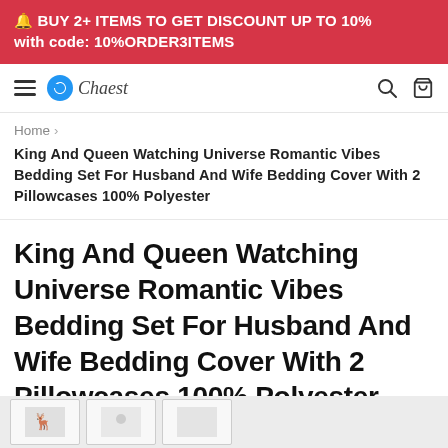🔔 BUY 2+ ITEMS TO GET DISCOUNT UP TO 10% with code: 10%ORDER3ITEMS
Chaest [logo] [search] [cart]
Home > King And Queen Watching Universe Romantic Vibes Bedding Set For Husband And Wife Bedding Cover With 2 Pillowcases 100% Polyester
King And Queen Watching Universe Romantic Vibes Bedding Set For Husband And Wife Bedding Cover With 2 Pillowcases 100% Polyester
[Figure (photo): Partial view of product image strip at the bottom of the page showing bedding set photos]